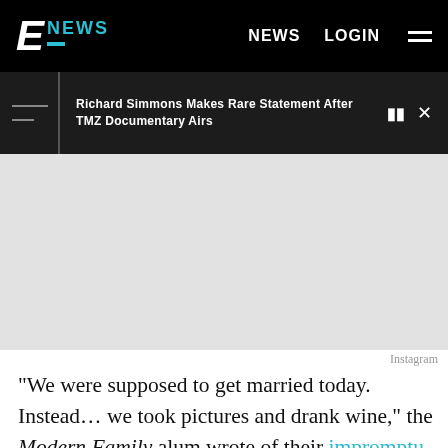E! NEWS | NEWS | LOGIN
Richard Simmons Makes Rare Statement After TMZ Documentary Airs
[Figure (photo): Light gray placeholder image area (Instagram photo)]
Instagram
"We were supposed to get married today. Instead… we took pictures and drank wine," the Modern Family alum wrote of their impromptu all-white vineyard photo shoot, while her future spouse reasoned that "I still got to grab a butt. So, ya know, still pretttty cool."